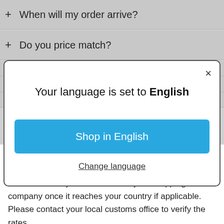+ When will my order arrive?
+ Do you price match?
[Figure (screenshot): Modal dialog with message 'Your language is set to English', a blue 'Shop in English' button, and a 'Change language' link. Has an X close button in top-right corner.]
calculator will give you an estimated value of the import taxes you might have to pay. Since we don't charge them checkout you'll be notified by the shipping company once it reaches your country if applicable. Please contact your local customs office to verify the rates